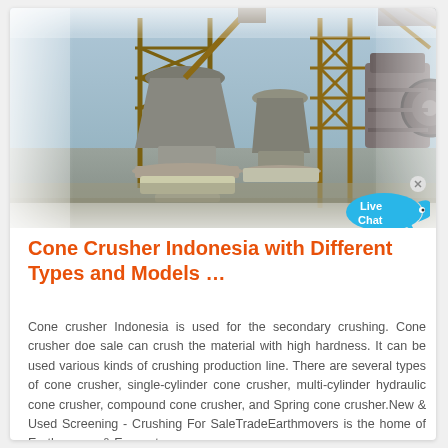[Figure (photo): Industrial cone crusher machinery at a quarry or crushing plant in Indonesia, showing large cone crusher units, conveyor structures, and crushing equipment with metal framework under an outdoor setting.]
Cone Crusher Indonesia with Different Types and Models …
Cone crusher Indonesia is used for the secondary crushing. Cone crusher doe sale can crush the material with high hardness. It can be used various kinds of crushing production line. There are several types of cone crusher, single-cylinder cone crusher, multi-cylinder hydraulic cone crusher, compound cone crusher, and Spring cone crusher.New & Used Screening - Crushing For SaleTradeEarthmovers is the home of Earthmovers & Excavators